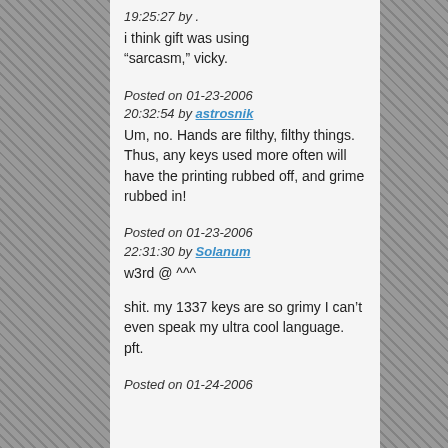19:25:27 by .
i think gift was using “sarcasm,” vicky.
Posted on 01-23-2006 20:32:54 by astrosnik
Um, no. Hands are filthy, filthy things. Thus, any keys used more often will have the printing rubbed off, and grime rubbed in!
Posted on 01-23-2006 22:31:30 by Solanum
w3rd @ ^^^

shit. my 1337 keys are so grimy I can’t even speak my ultra cool language. pft.
Posted on 01-24-2006